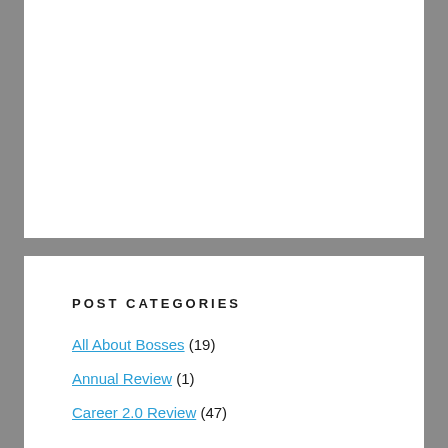POST CATEGORIES
All About Bosses (19)
Annual Review (1)
Career 2.0 Review (47)